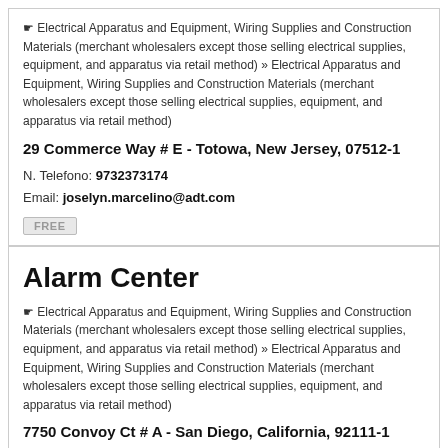☞ Electrical Apparatus and Equipment, Wiring Supplies and Construction Materials (merchant wholesalers except those selling electrical supplies, equipment, and apparatus via retail method) » Electrical Apparatus and Equipment, Wiring Supplies and Construction Materials (merchant wholesalers except those selling electrical supplies, equipment, and apparatus via retail method)
29 Commerce Way # E - Totowa, New Jersey, 07512-1
N. Telefono: 9732373174
Email: joselyn.marcelino@adt.com
FREE
Alarm Center
☞ Electrical Apparatus and Equipment, Wiring Supplies and Construction Materials (merchant wholesalers except those selling electrical supplies, equipment, and apparatus via retail method) » Electrical Apparatus and Equipment, Wiring Supplies and Construction Materials (merchant wholesalers except those selling electrical supplies, equipment, and apparatus via retail method)
7750 Convoy Ct # A - San Diego, California, 92111-1
N. Telefono: 8582786562